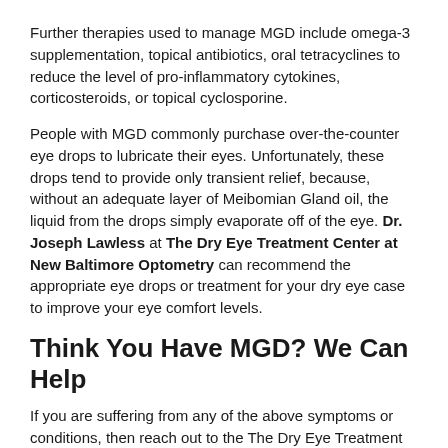Further therapies used to manage MGD include omega-3 supplementation, topical antibiotics, oral tetracyclines to reduce the level of pro-inflammatory cytokines, corticosteroids, or topical cyclosporine.
People with MGD commonly purchase over-the-counter eye drops to lubricate their eyes. Unfortunately, these drops tend to provide only transient relief, because, without an adequate layer of Meibomian Gland oil, the liquid from the drops simply evaporate off of the eye. Dr. Joseph Lawless at The Dry Eye Treatment Center at New Baltimore Optometry can recommend the appropriate eye drops or treatment for your dry eye case to improve your eye comfort levels.
Think You Have MGD? We Can Help
If you are suffering from any of the above symptoms or conditions, then reach out to the The Dry Eye Treatment Center at New Baltimore Optometry. Based on the degree of your condition, symptoms, and lifestyle, Dr. Joseph Lawless will recommend the best course of treatment for you.